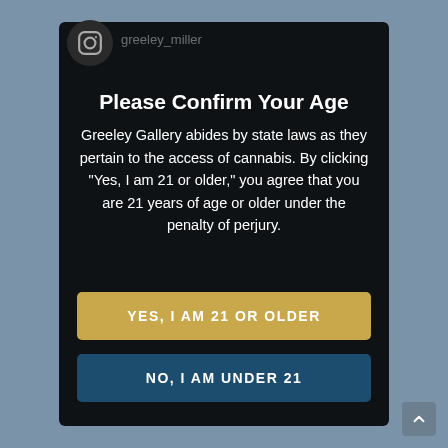Please Confirm Your Age
Greeley Gallery abides by state laws as they pertain to the access of cannabis. By clicking "Yes, I am 21 or older," you agree that you are 21 years of age or older under the penalty of perjury.
YES, I AM 21 OR OLDER
NO, I AM UNDER 21